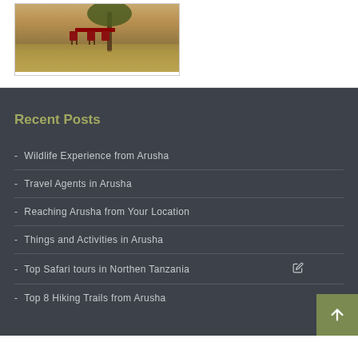[Figure (photo): Safari camp scene with red chairs/equipment under a tree in a savanna grassland setting]
Recent Posts
- Wildlife Experience from Arusha
- Travel Agents in Arusha
- Reaching Arusha from Your Location
- Things and Activities in Arusha
- Top Safari tours in Northen Tanzania
- Top 8 Hiking Trails from Arusha